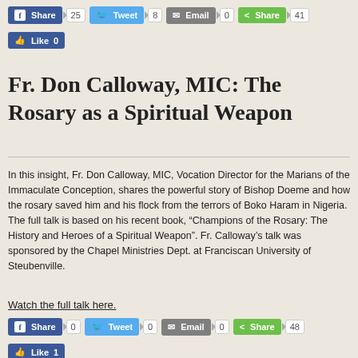[Figure (infographic): Social sharing buttons row: Facebook Share (25), Tweet (8), Email (0), Share (41); Facebook Like (0)]
Fr. Don Calloway, MIC: The Rosary as a Spiritual Weapon
In this insight, Fr. Don Calloway, MIC, Vocation Director for the Marians of the Immaculate Conception, shares the powerful story of Bishop Doeme and how the rosary saved him and his flock from the terrors of Boko Haram in Nigeria. The full talk is based on his recent book, “Champions of the Rosary: The History and Heroes of a Spiritual Weapon”. Fr. Calloway’s talk was sponsored by the Chapel Ministries Dept. at Franciscan University of Steubenville.
Watch the full talk here.
[Figure (infographic): Social sharing buttons row: Facebook Share (0), Tweet (0), Email (0), Share (48); Facebook Like (1)]